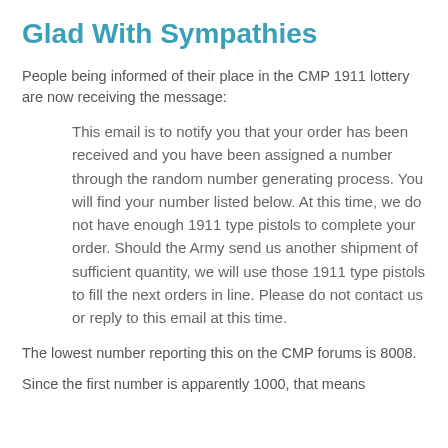Glad With Sympathies
People being informed of their place in the CMP 1911 lottery are now receiving the message:
This email is to notify you that your order has been received and you have been assigned a number through the random number generating process. You will find your number listed below. At this time, we do not have enough 1911 type pistols to complete your order. Should the Army send us another shipment of sufficient quantity, we will use those 1911 type pistols to fill the next orders in line. Please do not contact us or reply to this email at this time.
The lowest number reporting this on the CMP forums is 8008.
Since the first number is apparently 1000, that means